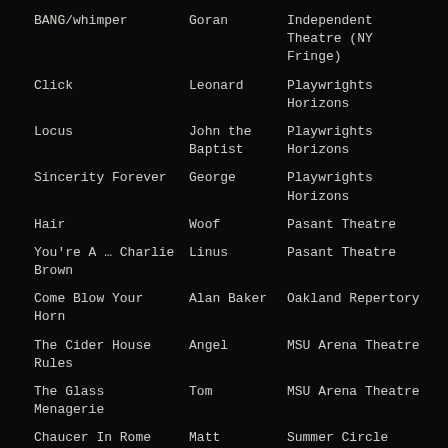| BANG/whimper | Goran | Independent Theatre (NY Fringe) |
| Click | Leonard | Playwrights Horizons |
| Locus | John the Baptist | Playwrights Horizons |
| Sincerity Forever | George | Playwrights Horizons |
| Hair | Woof | Pasant Theatre |
| You're A … Charlie Brown | Linus | Pasant Theatre |
| Come Blow Your Horn | Alan Baker | Oakland Repertory |
| The Cider House Rules | Angel | MSU Arena Theatre |
| The Glass Menagerie | Tom | MSU Arena Theatre |
| Chaucer In Rome | Matt | Summer Circle Theatre @ MSU |
| A Midsummer Night's Dream | Puck | Pasant Theatre |